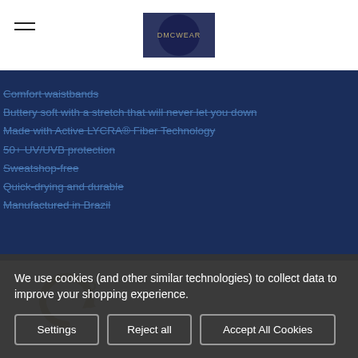DMCWEAR logo and hamburger menu
Comfort waistbands
Buttery soft with a stretch that will never let you down
Made with Active LYCRA® Fiber Technology
50+ UV/UVB protection
Sweatshop-free
Quick-drying and durable
Manufactured in Brazil
[Figure (logo): DMC circular logo in gold/olive color]
We use cookies (and other similar technologies) to collect data to improve your shopping experience.
Settings | Reject all | Accept All Cookies